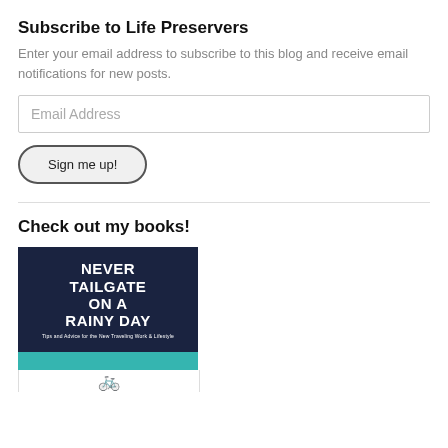Subscribe to Life Preservers
Enter your email address to subscribe to this blog and receive email notifications for new posts.
[Figure (screenshot): Email address input field with placeholder text 'Email Address']
[Figure (screenshot): Button labeled 'Sign me up!' with rounded pill shape and dark border]
Check out my books!
[Figure (photo): Book cover with dark navy background and white bold text reading 'NEVER TAILGATE ON A RAINY DAY' with small subtitle text below. Below is a teal stripe and the top of another book cover showing a white background with a small bicycle illustration.]